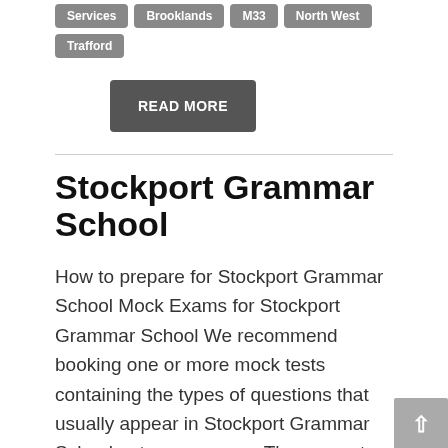Services
Brooklands
M33
North West
Trafford
READ MORE
Stockport Grammar School
How to prepare for Stockport Grammar School Mock Exams for Stockport Grammar School We recommend booking one or more mock tests containing the types of questions that usually appear in Stockport Grammar School entrance exams. The nearest mock test centre to Stockport Grammar School is Manchester (Trafford) Test Centre. Our mock exams will